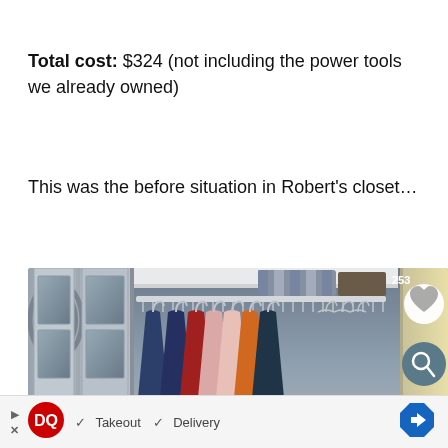Total cost: $324 (not including the power tools we already owned)
This was the before situation in Robert's closet…
[Figure (photo): Photo of a closet interior showing wire shelving with hanging clothes in various colors (navy, red, pink, orange) and a folded striped item on the top shelf. Bifold door and mirror visible on the left. Right side has a yellow/cream door trim. UI overlay shows heart (253 saves) and search buttons.]
[Figure (screenshot): Advertisement banner at bottom showing Dairy Queen logo with Takeout and Delivery checkmarks, a play/close button on left, and a blue diamond navigation arrow on right.]